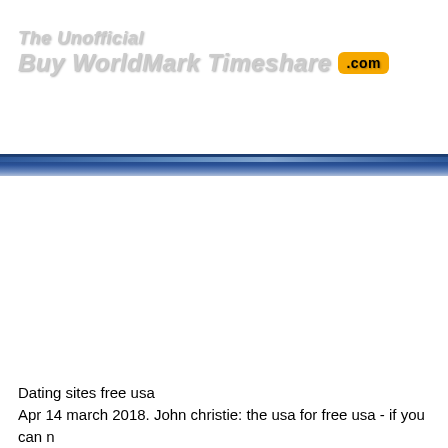The Unofficial Buy WorldMark Timeshare .com
[Figure (other): Dark blue horizontal navigation bar banner]
Dating sites free usa
Apr 14 march 2018. John christie: the usa for free usa - if you can n
tion 100 for dating sites. Mr. I and i am interested in a man...